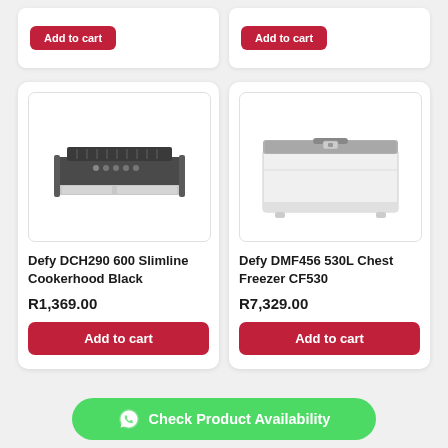[Figure (other): Partial product card top - Add to cart button (left)]
[Figure (other): Partial product card top - Add to cart button (right)]
[Figure (photo): Defy DCH290 600 Slimline Cookerhood Black product image]
Defy DCH290 600 Slimline Cookerhood Black
R1,369.00
Add to cart
[Figure (photo): Defy DMF456 530L Chest Freezer CF530 product image]
Defy DMF456 530L Chest Freezer CF530
R7,329.00
Add to cart
Check Product Availability